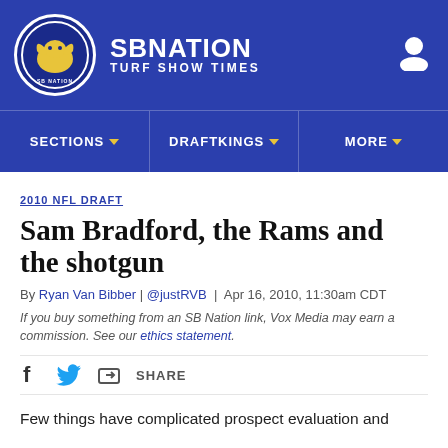SB NATION TURF SHOW TIMES
SECTIONS  DRAFTKINGS  MORE
2010 NFL DRAFT
Sam Bradford, the Rams and the shotgun
By Ryan Van Bibber | @justRVB | Apr 16, 2010, 11:30am CDT
If you buy something from an SB Nation link, Vox Media may earn a commission. See our ethics statement.
SHARE
Few things have complicated prospect evaluation and